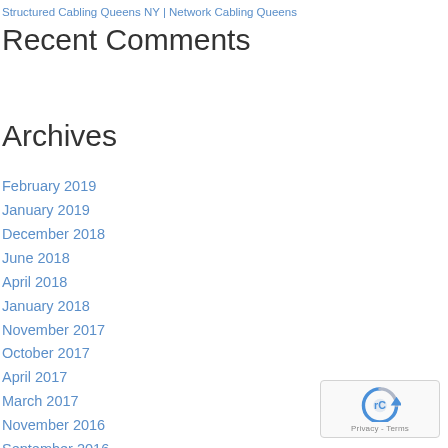Structured Cabling Queens NY | Network Cabling Queens
Recent Comments
Archives
February 2019
January 2019
December 2018
June 2018
April 2018
January 2018
November 2017
October 2017
April 2017
March 2017
November 2016
September 2016
July 2016
June 2016
March 2016